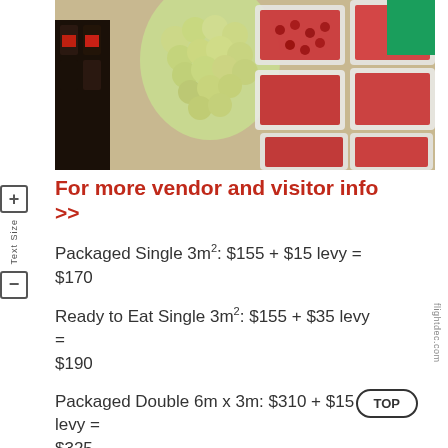[Figure (photo): Market stall display with green grapes, raspberries in clear plastic punnets, and dark jam jars on a burlap surface. Green square in top right corner.]
For more vendor and visitor info >>
Packaged Single 3m²: $155 + $15 levy = $170
Ready to Eat Single 3m²: $155 + $35 levy = $190
Packaged Double 6m x 3m: $310 + $15 levy = $325
Ready to Eat Double 6m x 3m: $310 + $35 lev...